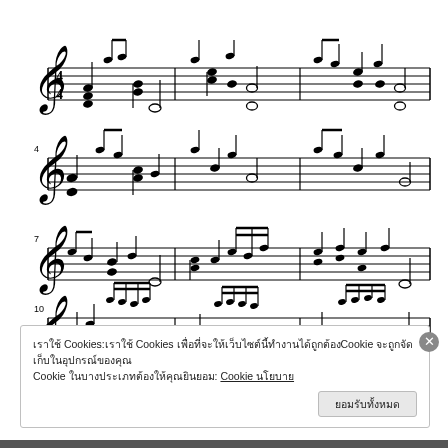[Figure (illustration): Five lines of sheet music notation on a treble clef staff in 4/4 time, showing multiple measures with notes, beams, ties, chords, and bar lines across 5 rows of staves.]
เราใช้ Cookies:เราใช้ Cookies เพื่อที่จะให้เว็บไซต์นี้ทำงานได้ถูกต้องCookie จะถูกจัดเก็บในอุปกรณ์ของคุณ Cookie ในบางประเภทต้องให้คุณยินยอม: Cookie นโยบาย
ยอมรับทั้งหมด